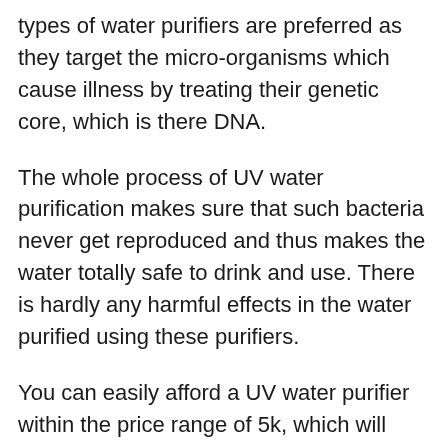types of water purifiers are preferred as they target the micro-organisms which cause illness by treating their genetic core, which is there DNA.
The whole process of UV water purification makes sure that such bacteria never get reproduced and thus makes the water totally safe to drink and use. There is hardly any harmful effects in the water purified using these purifiers.
You can easily afford a UV water purifier within the price range of 5k, which will offer you with all the desired benefits. However, the cost of these purifiers may rise to 10-15k, depending upon the user's varying needs and requirements along with the family size.